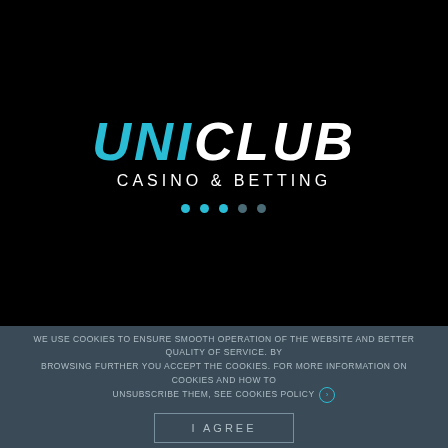[Figure (logo): UNICLUB Casino & Betting logo with teal 'UNI' and white 'CLUB' lettering in bold italic, followed by 'CASINO & BETTING' in white capitals, and five dots below in teal/dim teal colors as a loading indicator]
WE USE COOKIES TO ENSURE SMOOTH OPERATION OF THE WEBSITE AND BETTER QUALITY OF SERVICE. BY BROWSING FURTHER YOU ACCEPT THE COOKIES. FOR MORE INFORMATION ON COOKIES AND HOW TO UNSUBSCRIBE THEM, SEE COOKIES POLICY ›
I AGREE